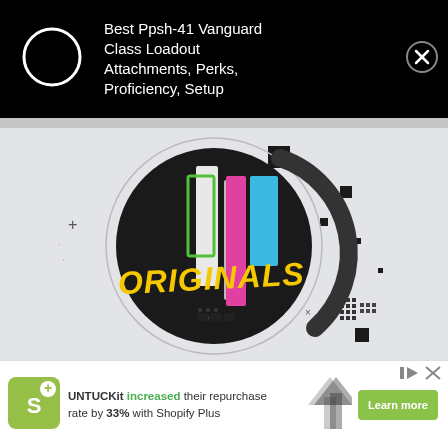Best Ppsh-41 Vanguard Class Loadout Attachments, Perks, Proficiency, Setup
[Figure (illustration): Colorful circular logo/artwork with 'ORIGINALS' text in graffiti-style yellow lettering on a dark background, with geometric shapes in pink, blue, green and white colors, surrounded by decorative pixel/square elements on a light background]
[Figure (infographic): Shopify Plus advertisement banner: UNTUCKit increased their repurchase rate by 33% with Shopify Plus. Shows Shopify logo, upward arrows graphic, and Learn more button.]